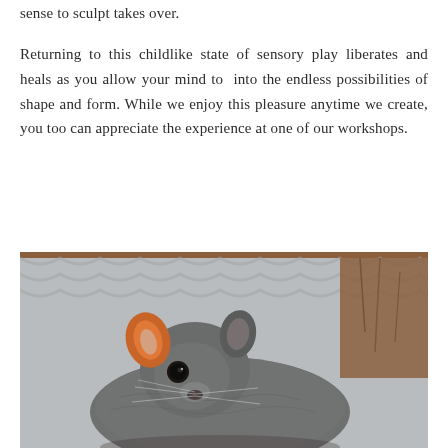sense to sculpt takes over.
Returning to this childlike state of sensory play liberates and heals as you allow your mind to  into the endless possibilities of shape and form. While we enjoy this pleasure anytime we create, you too can appreciate the experience at one of our workshops.
[Figure (photo): Close-up photograph of a possum (ring-tailed possum) with grey fur, orange-tinged ears, and dark eyes, perched on or near a wooden structure with a corrugated metal background. A brown horizontal bar appears at the top of the image.]